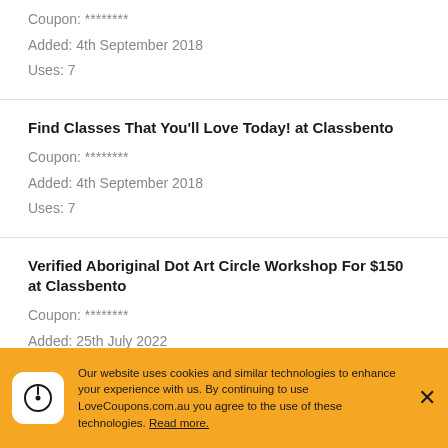Coupon: ********
Added: 4th September 2018
Uses: 7
Find Classes That You'll Love Today! at Classbento
Coupon: ********
Added: 4th September 2018
Uses: 7
Verified Aboriginal Dot Art Circle Workshop For $150 at Classbento
Coupon: ********
Added: 25th July 2022
Uses: 1
Our website uses cookies and similar technologies to enhance your experience with us. By continuing to use LoveCoupons.com.au you agree to the use of these technologies. Read more.